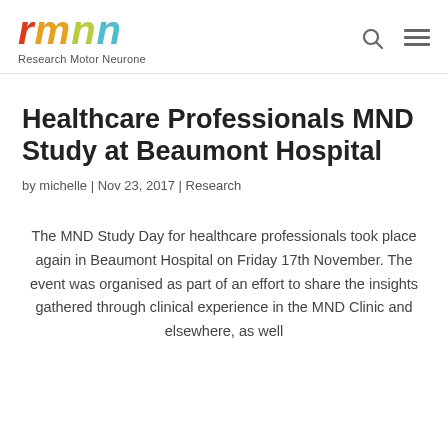Research Motor Neurone
Healthcare Professionals MND Study at Beaumont Hospital
by michelle | Nov 23, 2017 | Research
The MND Study Day for healthcare professionals took place again in Beaumont Hospital on Friday 17th November. The event was organised as part of an effort to share the insights gathered through clinical experience in the MND Clinic and elsewhere, as well